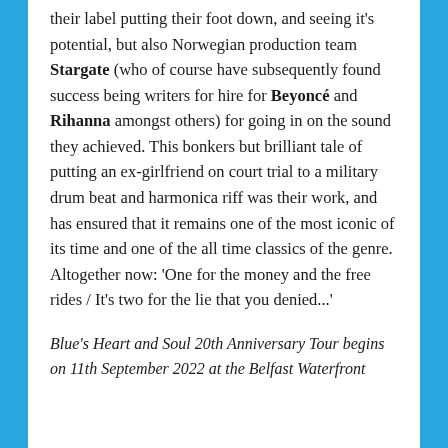their label putting their foot down, and seeing it's potential, but also Norwegian production team Stargate (who of course have subsequently found success being writers for hire for Beyoncé and Rihanna amongst others) for going in on the sound they achieved. This bonkers but brilliant tale of putting an ex-girlfriend on court trial to a military drum beat and harmonica riff was their work, and has ensured that it remains one of the most iconic of its time and one of the all time classics of the genre. Altogether now: 'One for the money and the free rides / It's two for the lie that you denied...'
Blue's Heart and Soul 20th Anniversary Tour begins on 11th September 2022 at the Belfast Waterfront